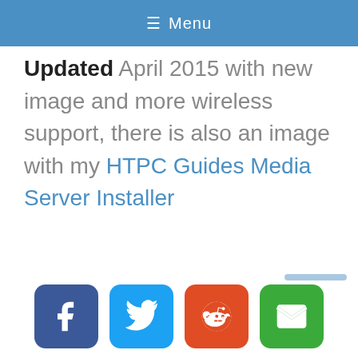≡ Menu
Updated April 2015 with new image and more wireless support, there is also an image with my HTPC Guides Media Server Installer
[Figure (other): Social sharing buttons row: Facebook (blue), Twitter (light blue), Reddit (orange), Email (green)]